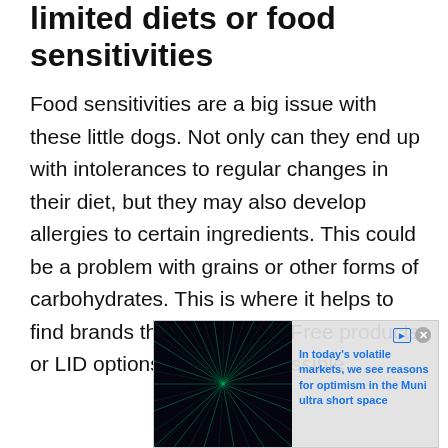limited diets or food sensitivities
Food sensitivities are a big issue with these little dogs. Not only can they end up with intolerances to regular changes in their diet, but they may also develop allergies to certain ingredients. This could be a problem with grains or other forms of carbohydrates. This is where it helps to find brands that have Grain-Free products or LID options. The other possible
[Figure (other): Advertisement overlay showing an image of radiating light beams on dark background with text: 'In today's volatile markets, we see reasons for optimism in the Muni ultra short space'. Ad label visible at bottom left.]